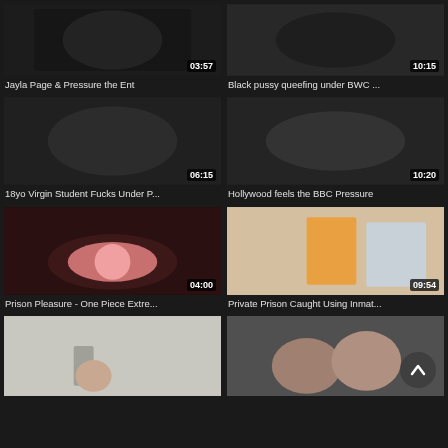[Figure (screenshot): Video thumbnail - Jayla Page & Pressure the Ent, duration 03:57]
Jayla Page & Pressure the Ent
[Figure (screenshot): Video thumbnail - Black pussy queefing under BWC ..., duration 10:15]
Black pussy queefing under BWC ...
[Figure (screenshot): Video thumbnail - 18yo Virgin Student Fucks Under P..., duration 06:15]
18yo Virgin Student Fucks Under P...
[Figure (screenshot): Video thumbnail - Hollywood feels the BBC Pressure, duration 10:20]
Hollywood feels the BBC Pressure
[Figure (screenshot): Video thumbnail - Prison Pleasure - One Piece Extre..., duration 04:00]
Prison Pleasure - One Piece Extre...
[Figure (screenshot): Video thumbnail - Private Prison Caught Using Inmat..., duration 09:54]
Private Prison Caught Using Inmat...
[Figure (screenshot): Video thumbnail - partial, bottom left]
[Figure (screenshot): Video thumbnail - partial, bottom right, with scroll-to-top button]